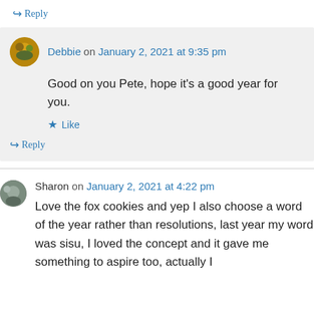↪ Reply
Debbie on January 2, 2021 at 9:35 pm
Good on you Pete, hope it's a good year for you.
★ Like
↪ Reply
Sharon on January 2, 2021 at 4:22 pm
Love the fox cookies and yep I also choose a word of the year rather than resolutions, last year my word was sisu, I loved the concept and it gave me something to aspire too, actually I